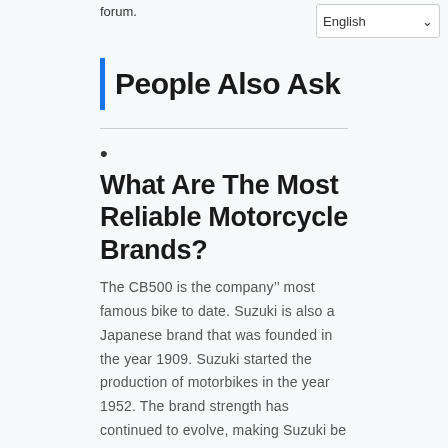know about the record was because of this forum.
People Also Ask
What Are The Most Reliable Motorcycle Brands?
The CB500 is the company's most famous bike to date. Suzuki is also a Japanese brand that was founded in the year 1909. Suzuki started the production of motorbikes in the year 1952. The brand strength has continued to evolve, making Suzuki be among the most reliable motorcycle brand in MotoGP.